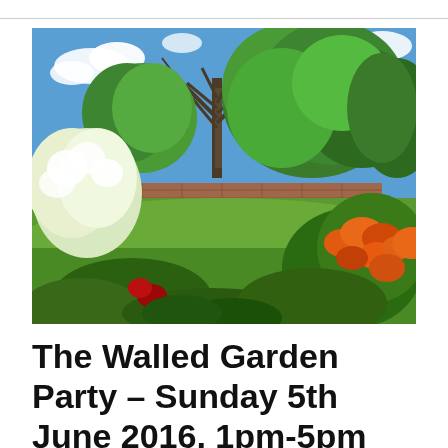[Figure (photo): A lush walled garden scene on a sunny day. Large deciduous trees fill the background against a blue sky with white clouds. A brick garden wall is visible in the middle distance. White flowering shrubs are on the left, orange/red flowering plants on the right foreground, with green lawn and garden beds in the centre.]
The Walled Garden Party – Sunday 5th June 2016, 1pm-5pm